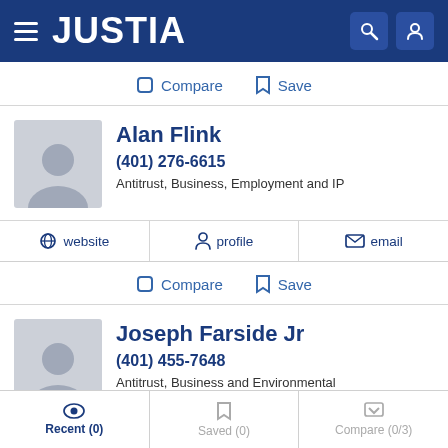JUSTIA
Compare  Save
Alan Flink
(401) 276-6615
Antitrust, Business, Employment and IP
website  profile  email
Compare  Save
Joseph Farside Jr
(401) 455-7648
Antitrust, Business and Environmental
Recent (0)  Saved (0)  Compare (0/3)